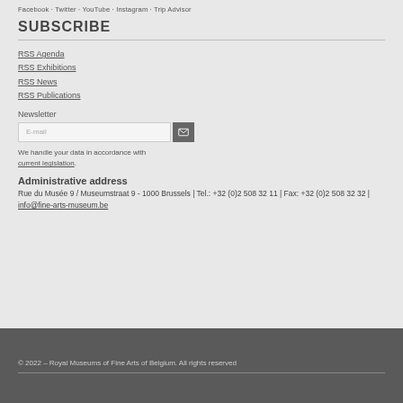Facebook · Twitter · YouTube · Instagram · Trip Advisor
SUBSCRIBE
RSS Agenda
RSS Exhibitions
RSS News
RSS Publications
Newsletter
E-mail
We handle your data in accordance with current legislation.
Administrative address
Rue du Musée 9 / Museumstraat 9 - 1000 Brussels | Tel.: +32 (0)2 508 32 11 | Fax: +32 (0)2 508 32 32 | info@fine-arts-museum.be
© 2022 – Royal Museums of Fine Arts of Belgium. All rights reserved